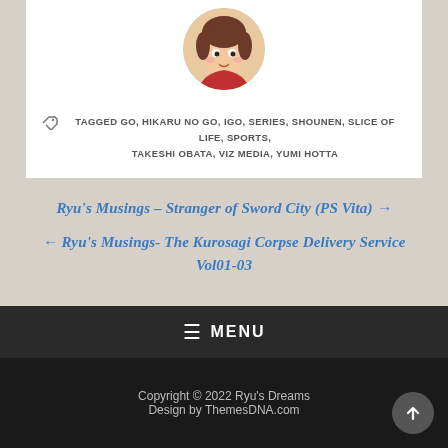[Figure (illustration): Anime-style avatar character with brown hair, wearing a red outfit, circular cropped portrait]
TAGGED GO, HIKARU NO GO, IGO, SERIES, SHOUNEN, SLICE OF LIFE, SPORTS, TAKESHI OBATA, VIZ MEDIA, YUMI HOTTA
Ryu's Musings – Stranger of Sword City (PS Vita) →
← Ryu's Musings- The Kurosagi Corpse Delivery Service Vol01-03
MENU
Copyright © 2022 Ryu's Dreams
Design by ThemesDNA.com